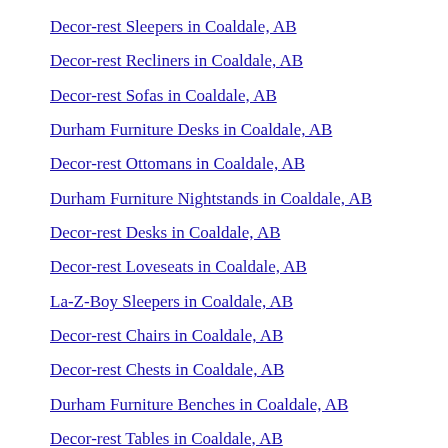Decor-rest Sleepers in Coaldale, AB
Decor-rest Recliners in Coaldale, AB
Decor-rest Sofas in Coaldale, AB
Durham Furniture Desks in Coaldale, AB
Decor-rest Ottomans in Coaldale, AB
Durham Furniture Nightstands in Coaldale, AB
Decor-rest Desks in Coaldale, AB
Decor-rest Loveseats in Coaldale, AB
La-Z-Boy Sleepers in Coaldale, AB
Decor-rest Chairs in Coaldale, AB
Decor-rest Chests in Coaldale, AB
Durham Furniture Benches in Coaldale, AB
Decor-rest Tables in Coaldale, AB